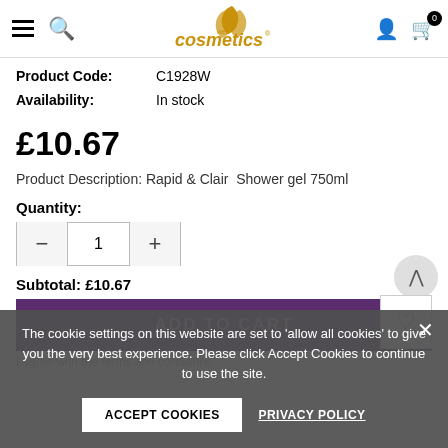[Figure (logo): WebCosmetics logo with golden leaf/flower icon and stylized italic text 'cosmetics']
Product Code: C1928W
Availability: In stock
£10.67
Product Description: Rapid & Clair  Shower gel 750ml
Quantity:
1
Subtotal: £10.67
The cookie settings on this website are set to 'allow all cookies' to give you the very best experience. Please click Accept Cookies to continue to use the site.
ADD TO CART
ACCEPT COOKIES
PRIVACY POLICY
I agree with the terms and conditions